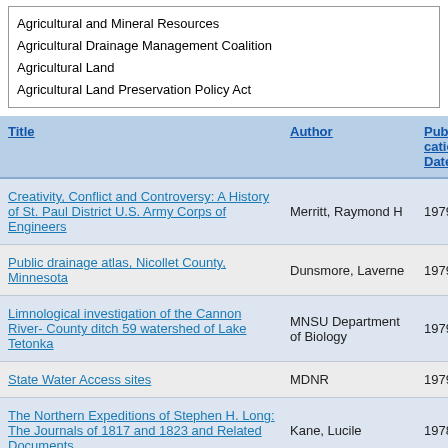Agricultural and Mineral Resources
Agricultural Drainage Management Coalition
Agricultural Land
Agricultural Land Preservation Policy Act
| Title | Author | Publication Date |
| --- | --- | --- |
| Creativity, Conflict and Controversy: A History of St. Paul District U.S. Army Corps of Engineers | Merritt, Raymond H | 1979 |
| Public drainage atlas, Nicollet County, Minnesota | Dunsmore, Laverne | 1979 |
| Limnological investigation of the Cannon River- County ditch 59 watershed of Lake Tetonka | MNSU Department of Biology | 1979 |
| State Water Access sites | MDNR | 1979 |
| The Northern Expeditions of Stephen H. Long: The Journals of 1817 and 1823 and Related Documents | Kane, Lucile | 1978 |
| Perceptions on the Prairie: Cultural Contrasts |  |  |